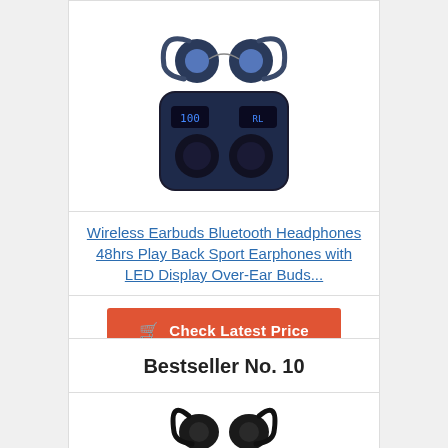[Figure (photo): Wireless earbuds with over-ear hooks shown with charging case open, displaying LED battery indicators. Blue/black color scheme.]
Wireless Earbuds Bluetooth Headphones 48hrs Play Back Sport Earphones with LED Display Over-Ear Buds...
Check Latest Price
Bestseller No. 10
[Figure (photo): Wireless sport earbuds with over-ear hooks, black color, partially visible at bottom of page.]